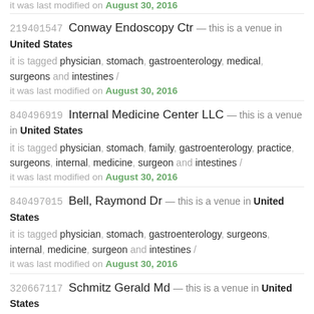it was last modified on August 30, 2016
219401547  Conway Endoscopy Ctr — this is a venue in United States
it is tagged physician, stomach, gastroenterology, medical, surgeons and intestines /
it was last modified on August 30, 2016
840496919  Internal Medicine Center LLC — this is a venue in United States
it is tagged physician, stomach, family, gastroenterology, practice, surgeons, internal, medicine, surgeon and intestines /
it was last modified on August 30, 2016
840497015  Bell, Raymond Dr — this is a venue in United States
it is tagged physician, stomach, gastroenterology, surgeons, internal, medicine, surgeon and intestines /
it was last modified on August 30, 2016
320667117  Schmitz Gerald Md — this is a venue in United States